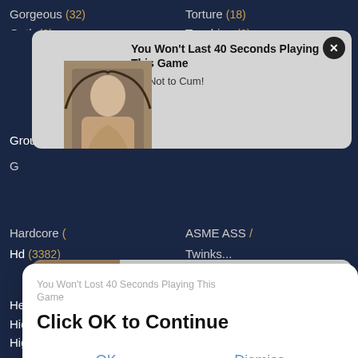Gorgeous (32)
Torture (18)
Goth (?)
Touching (?)
[Figure (screenshot): Ad notification card: blonde woman image on left, text 'You Won't Last 40 Seconds Playing This Game / Try Not to Cum!' on grey background with close X button]
Group (305)
Transvestite (0)
[Figure (screenshot): Second ad notification card with couple image on left, grey background, close X button, overlapped by modal]
[Figure (screenshot): Modal dialog overlay: 'You Won't Last 40 Seconds Playing This Game' ghost text, 'Click OK to Continue' bold text, OK and Dismiss buttons]
Hardcore (...)
Twinks (...)
Hd (3382)
Twins (?)
Heels (100)
Hentai (17)
Ugly (11)
Hidden (54)
Ukrainian (28)
High (106)
Uncle (8)
Homemade (420)
Upskirt (26)
Hooker (13)
Vagina (202)
Horny (219)
Vibrator (23)